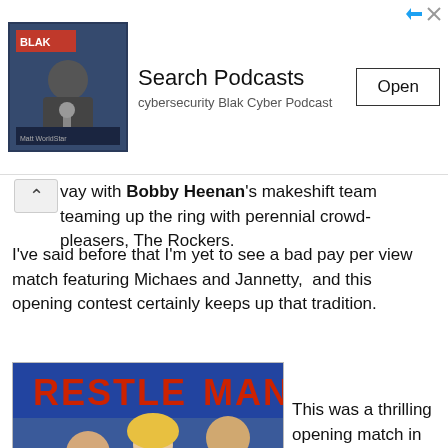[Figure (screenshot): Advertisement banner for a podcast app. Shows a podcast thumbnail image on the left, 'Search Podcasts' title with 'cybersecurity Blak Cyber Podcast' subtitle in the middle, and an 'Open' button on the right. Blue arrow and X icons in top-right corner.]
way with Bobby Heenan's makeshift team teaming up the ring with perennial crowd-pleasers, The Rockers.
I've said before that I'm yet to see a bad pay per view match featuring Michaes and Jannetty,  and this opening contest certainly keeps up that tradition.
[Figure (photo): A WrestleMania event photo showing three people in formal attire — a shorter man in a tuxedo holding a microphone interviewing, a blonde woman in a white dress, and a tall man in a tuxedo — against a blue WrestleMania backdrop. WWE logo in bottom-left corner.]
This was a thrilling opening match in which Heenan's family members pitted